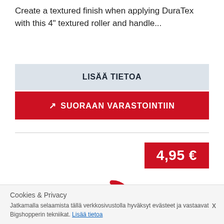Create a textured finish when applying DuraTex with this 4" textured roller and handle...
LISÄÄ TIETOA
SUORAAN VARASTOINTIIN
4,95 €
[Figure (other): Red circular loading spinner icon]
Cookies & Privacy
Jatkamalla selaamista tällä verkkosivustolla hyväksyt evästeet ja vastaavat Bigshopperin tekniikat. Lisää tietoa